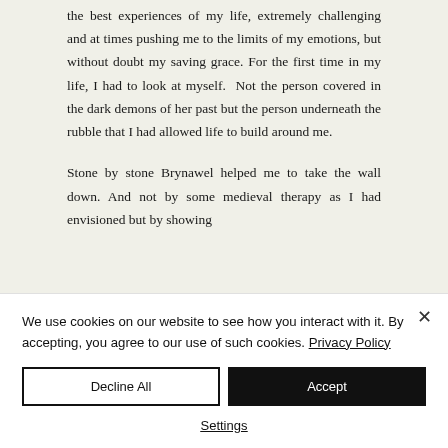the best experiences of my life, extremely challenging and at times pushing me to the limits of my emotions, but without doubt my saving grace. For the first time in my life, I had to look at myself.  Not the person covered in the dark demons of her past but the person underneath the rubble that I had allowed life to build around me.

Stone by stone Brynawel helped me to take the wall down. And not by some medieval therapy as I had envisioned but by showing
We use cookies on our website to see how you interact with it. By accepting, you agree to our use of such cookies. Privacy Policy
Decline All
Accept
Settings